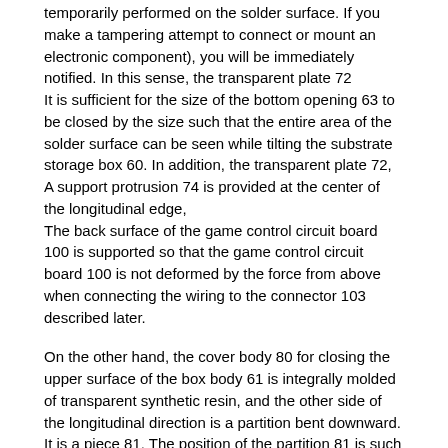temporarily performed on the solder surface. If you make a tampering attempt to connect or mount an electronic component), you will be immediately notified. In this sense, the transparent plate 72
It is sufficient for the size of the bottom opening 63 to be closed by the size such that the entire area of the solder surface can be seen while tilting the substrate storage box 60. In addition, the transparent plate 72,
A support protrusion 74 is provided at the center of the longitudinal edge,
The back surface of the game control circuit board 100 is supported so that the game control circuit board 100 is not deformed by the force from above when connecting the wiring to the connector 103 described later.
On the other hand, the cover body 80 for closing the upper surface of the box body 61 is integrally molded of transparent synthetic resin, and the other side of the longitudinal direction is a partition bent downward. It is a piece 81. The position of the partition 81 is such that when the cover body 80 is mounted on the box body 61, the connector mounting area 104 of the game control circuit board 100 appears outside to form a connection opening